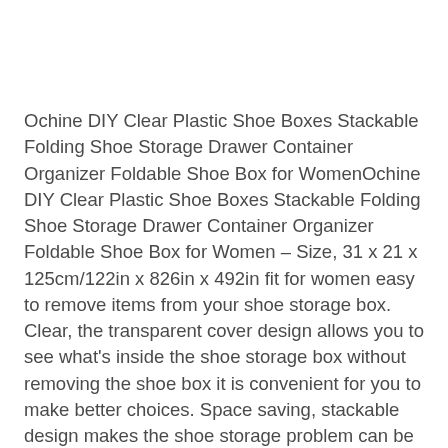Ochine DIY Clear Plastic Shoe Boxes Stackable Folding Shoe Storage Drawer Container Organizer Foldable Shoe Box for WomenOchine DIY Clear Plastic Shoe Boxes Stackable Folding Shoe Storage Drawer Container Organizer Foldable Shoe Box for Women – Size, 31 x 21 x 125cm/122in x 826in x 492in fit for women easy to remove items from your shoe storage box. Clear, the transparent cover design allows you to see what's inside the shoe storage box without removing the shoe box it is convenient for you to make better choices. Space saving, stackable design makes the shoe storage problem can be easily solved with just a small corner when using the shoe box unused shoe boxes can be folded to save space and easy to